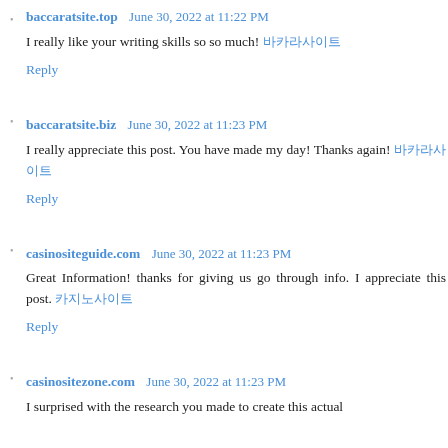baccaratsite.top  June 30, 2022 at 11:22 PM
I really like your writing skills so so much! 바카라사이트
Reply
baccaratsite.biz  June 30, 2022 at 11:23 PM
I really appreciate this post. You have made my day! Thanks again! 바카라사이트
Reply
casinositeguide.com  June 30, 2022 at 11:23 PM
Great Information! thanks for giving us go through info. I appreciate this post. 카지노사이트
Reply
casinositezone.com  June 30, 2022 at 11:23 PM
I surprised with the research you made to create this actual